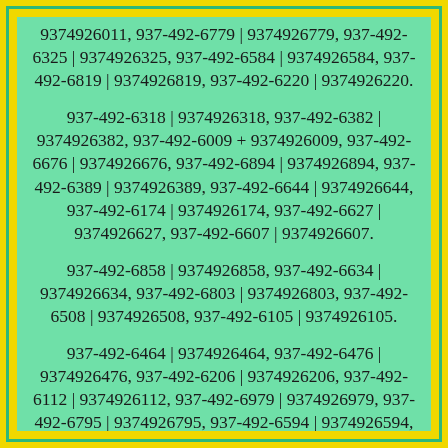9374926011, 937-492-6779 | 9374926779, 937-492-6325 | 9374926325, 937-492-6584 | 9374926584, 937-492-6819 | 9374926819, 937-492-6220 | 9374926220.
937-492-6318 | 9374926318, 937-492-6382 | 9374926382, 937-492-6009 + 9374926009, 937-492-6676 | 9374926676, 937-492-6894 | 9374926894, 937-492-6389 | 9374926389, 937-492-6644 | 9374926644, 937-492-6174 | 9374926174, 937-492-6627 | 9374926627, 937-492-6607 | 9374926607.
937-492-6858 | 9374926858, 937-492-6634 | 9374926634, 937-492-6803 | 9374926803, 937-492-6508 | 9374926508, 937-492-6105 | 9374926105.
937-492-6464 | 9374926464, 937-492-6476 | 9374926476, 937-492-6206 | 9374926206, 937-492-6112 | 9374926112, 937-492-6979 | 9374926979, 937-492-6795 | 9374926795, 937-492-6594 | 9374926594, 937-492-6651 | 9374926651, 937-492-6225 | 9374926225, 937-492-6887 | 9374926887, 937-492-6192 |